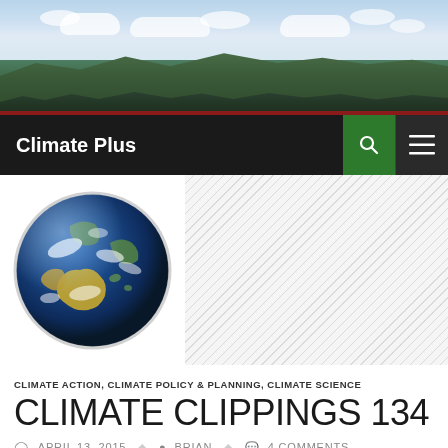[Figure (photo): Landscape banner photo showing sky with clouds, rolling forested hills in background, taken from an elevated vantage point.]
Climate Plus
[Figure (photo): Globe image showing Earth from space with Australia visible, blue oceans, white clouds, green landmasses.]
[Figure (other): Hatched/striped placeholder area to the right of the globe image.]
CLIMATE ACTION, CLIMATE POLICY & PLANNING, CLIMATE SCIENCE
CLIMATE CLIPPINGS 134
APRIL 13, 2015   BRIAN   4 COMMENTS